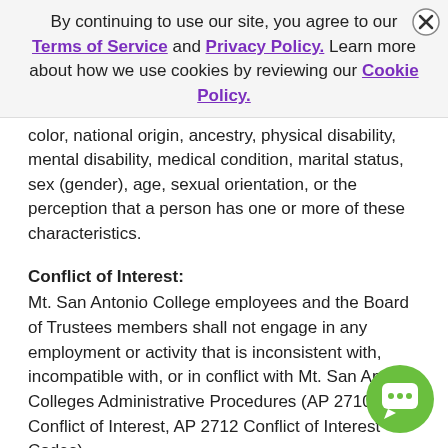By continuing to use our site, you agree to our Terms of Service and Privacy Policy. Learn more about how we use cookies by reviewing our Cookie Policy.
color, national origin, ancestry, physical disability, mental disability, medical condition, marital status, sex (gender), age, sexual orientation, or the perception that a person has one or more of these characteristics.
Conflict of Interest:
Mt. San Antonio College employees and the Board of Trustees members shall not engage in any employment or activity that is inconsistent with, incompatible with, or in conflict with Mt. San Antonio Colleges Administrative Procedures (AP 2710 Conflict of Interest, AP 2712 Conflict of Interest Codes).
To apply, visit https://hrjobs.mtsac.edu/postings/8551